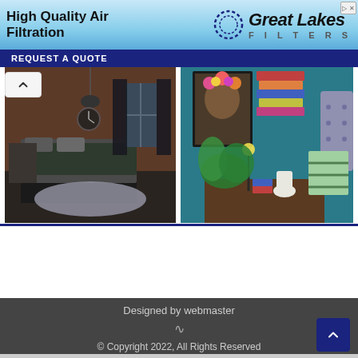[Figure (photo): Advertisement banner for Great Lakes Filters showing 'High Quality Air Filtration' text on a sky-blue background with the Great Lakes Filters logo and a 'REQUEST A QUOTE' button]
[Figure (photo): Interior bedroom photo with brick walls, dark bedding, round gray rug, and industrial pendant light]
[Figure (photo): Colorful bedroom corner with teal walls, Frida Kahlo-style portrait, stacked books, tropical plants, lamp, and tufted headboard]
Designed by webmaster
© Copyright 2022, All Rights Reserved